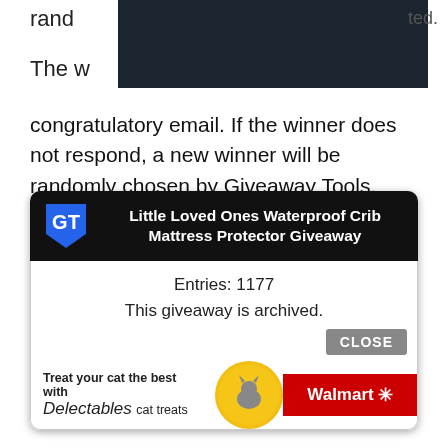[Figure (photo): Partially visible dark screenshot/image at top of page overlapping text]
rand... ...ted. The w... congratulatory email. If the winner does not respond, a new winner will be randomly chosen by Giveaway Tools. Facebook, Twitter, Pinterest, and Instagram are in no way affiliated with this giveaway. If you have any questions, please email Marissa at MommyKnowsWhatsBest (at) gmail.com.
[Figure (screenshot): Giveaway Tools widget showing 'Little Loved Ones Waterproof Crib Mattress Protector Giveaway' with Entries: 1177, 'This giveaway is archived.' message, CLOSE button, and Walmart Delectables cat treats advertisement at bottom]